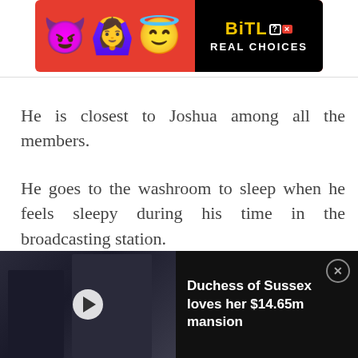[Figure (other): BitLife app advertisement banner with emoji characters (devil, person with hands up, angel emoji) on red background, with black panel showing BitLife logo and 'REAL CHOICES' tagline]
He is closest to Joshua among all the members.
He goes to the washroom to sleep when he feels sleepy during his time in the broadcasting station.
[Figure (other): Video advertisement showing two people in formal attire with play button overlay, and text 'Duchess of Sussex loves her $14.65m mansion' on dark background with close button]